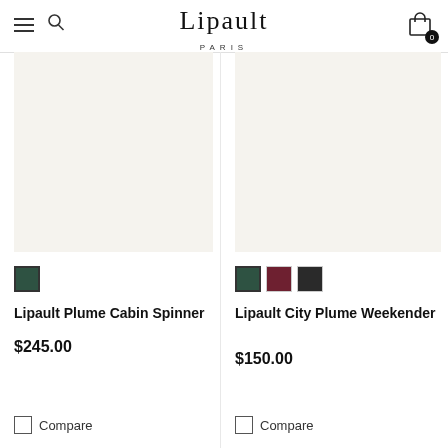Lipault PARIS
[Figure (photo): Lipault Plume Cabin Spinner product image placeholder (light beige background)]
[Figure (photo): Lipault City Plume Weekender product image placeholder (light beige background)]
Color swatch: green (selected)
Color swatches: green (selected), maroon, black
Lipault Plume Cabin Spinner
$245.00
Lipault City Plume Weekender
$150.00
Compare
Compare